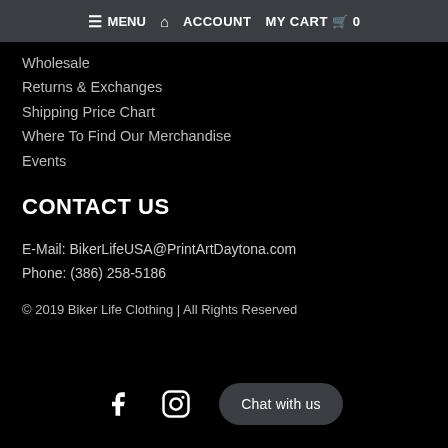≡ MENU  🏠 ACCOUNT  MY CART 🛒 0
Wholesale
Returns & Exchanges
Shipping Price Chart
Where To Find Our Merchandise
Events
CONTACT US
E-Mail: BikerLifeUSA@PrintArtDaytona.com
Phone: (386) 258-5186
© 2019 Biker Life Clothing | All Rights Reserved
[Figure (other): Facebook and Instagram social media icons, and a 'Chat with us' button]